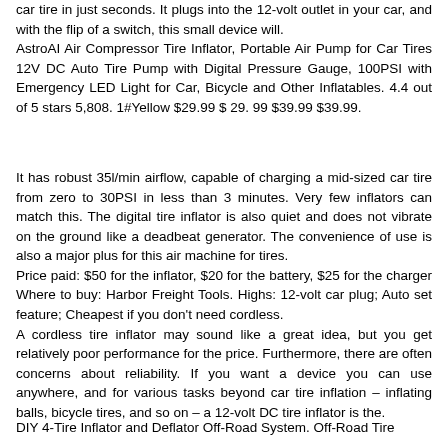car tire in just seconds. It plugs into the 12-volt outlet in your car, and with the flip of a switch, this small device will. AstroAI Air Compressor Tire Inflator, Portable Air Pump for Car Tires 12V DC Auto Tire Pump with Digital Pressure Gauge, 100PSI with Emergency LED Light for Car, Bicycle and Other Inflatables. 4.4 out of 5 stars 5,808. 1#Yellow $29.99 $ 29. 99 $39.99 $39.99.
It has robust 35l/min airflow, capable of charging a mid-sized car tire from zero to 30PSI in less than 3 minutes. Very few inflators can match this. The digital tire inflator is also quiet and does not vibrate on the ground like a deadbeat generator. The convenience of use is also a major plus for this air machine for tires. Price paid: $50 for the inflator, $20 for the battery, $25 for the charger Where to buy: Harbor Freight Tools. Highs: 12-volt car plug; Auto set feature; Cheapest if you don't need cordless. A cordless tire inflator may sound like a great idea, but you get relatively poor performance for the price. Furthermore, there are often concerns about reliability. If you want a device you can use anywhere, and for various tasks beyond car tire inflation – inflating balls, bicycle tires, and so on – a 12-volt DC tire inflator is the.
DIY 4-Tire Inflator and Deflator Off-Road System. Off-Road Tire